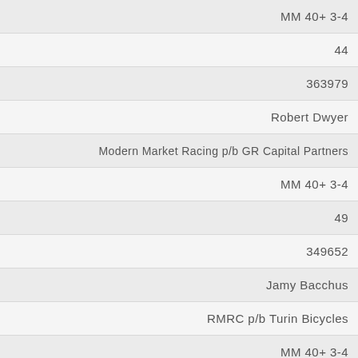| MM 40+ 3-4 |
| 44 |
| 363979 |
| Robert Dwyer |
| Modern Market Racing p/b GR Capital Partners |
| MM 40+ 3-4 |
| 49 |
| 349652 |
| Jamy Bacchus |
| RMRC p/b Turin Bicycles |
| MM 40+ 3-4 |